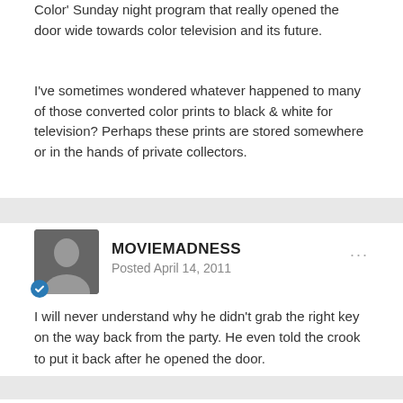Color' Sunday night program that really opened the door wide towards color television and its future.
I've sometimes wondered whatever happened to many of those converted color prints to black & white for television? Perhaps these prints are stored somewhere or in the hands of private collectors.
MOVIEMADNESS
Posted April 14, 2011
I will never understand why he didn't grab the right key on the way back from the party. He even told the crook to put it back after he opened the door.
MARKFP2
Posted April 14, 2011